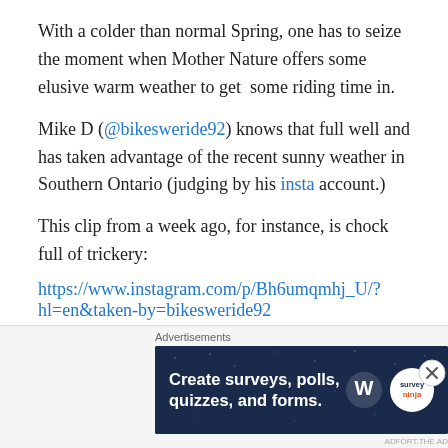With a colder than normal Spring, one has to seize the moment when Mother Nature offers some elusive warm weather to get  some riding time in.
Mike D (@bikesweride92) knows that full well and has taken advantage of the recent sunny weather in Southern Ontario (judging by his insta account.)
This clip from a week ago, for instance, is chock full of trickery:
https://www.instagram.com/p/Bh6umqmhj_U/?hl=en&taken-by=bikesweride92
Likewise, this sweet little clip from yesterday:
[Figure (screenshot): Advertisement banner: 'Create surveys, polls, quizzes, and forms.' on dark blue background with WordPress and Survey Ninja logos. Labeled 'Advertisements' above.]